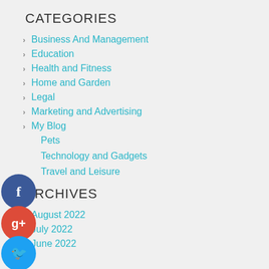CATEGORIES
Business And Management
Education
Health and Fitness
Home and Garden
Legal
Marketing and Advertising
My Blog
Pets
Technology and Gadgets
Travel and Leisure
ARCHIVES
August 2022
July 2022
June 2022